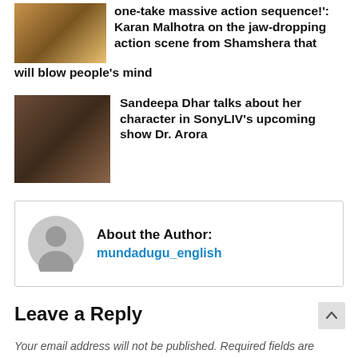[Figure (photo): Thumbnail image from Shamshera movie with costumed actors]
one-take massive action sequence!': Karan Malhotra on the jaw-dropping action scene from Shamshera that will blow people's mind
[Figure (photo): Thumbnail image of Sandeepa Dhar in a scene from Dr. Arora on SonyLIV]
Sandeepa Dhar talks about her character in SonyLIV's upcoming show Dr. Arora
About the Author: mundadugu_english
Leave a Reply
Your email address will not be published. Required fields are marked *